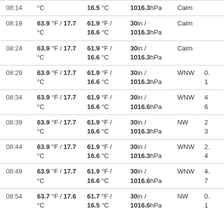| Time | Temp | Dew Point | Pressure | Wind Dir | Wind Speed |
| --- | --- | --- | --- | --- | --- |
| 08:14 | °C | 16.5 °C | 1016.3hPa | Calm |  |
| 08:19 | 63.9 °F / 17.7 °C | 61.9 °F / 16.6 °C | 30in / 1016.3hPa | Calm |  |
| 08:24 | 63.9 °F / 17.7 °C | 61.9 °F / 16.6 °C | 30in / 1016.3hPa | Calm |  |
| 08:29 | 63.9 °F / 17.7 °C | 61.9 °F / 16.6 °C | 30in / 1016.3hPa | WNW | 0. 1 |
| 08:34 | 63.9 °F / 17.7 °C | 61.9 °F / 16.6 °C | 30in / 1016.6hPa | WNW | 4 6 |
| 08:39 | 63.9 °F / 17.7 °C | 61.9 °F / 16.6 °C | 30in / 1016.3hPa | NW | 2 3 |
| 08:44 | 63.9 °F / 17.7 °C | 61.9 °F / 16.6 °C | 30in / 1016.3hPa | WNW | 2. 4 |
| 08:49 | 63.9 °F / 17.7 °C | 61.9 °F / 16.6 °C | 30in / 1016.6hPa | WNW | 4. 7 |
| 08:54 | 63.7 °F / 17.6 °C | 61.7 °F / 16.5 °C | 30in / 1016.6hPa | NW | 0. 1 |